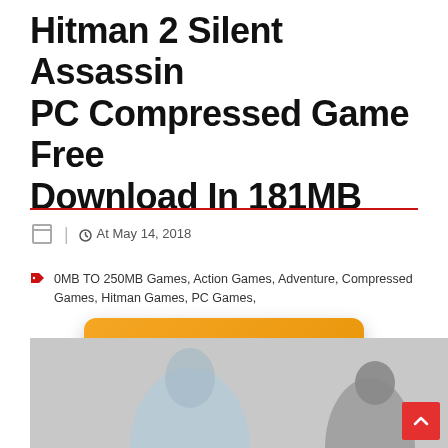Hitman 2 Silent Assassin PC Compressed Game Free Download In 181MB
At May 14, 2018
0MB TO 250MB Games, Action Games, Adventure, Compressed Games, Hitman Games, PC Games,
[Figure (other): Orange download button with cloud and arrow icon and text DOWNLOAD]
[Figure (photo): Game screenshot or cover art showing characters in gray/white tones]